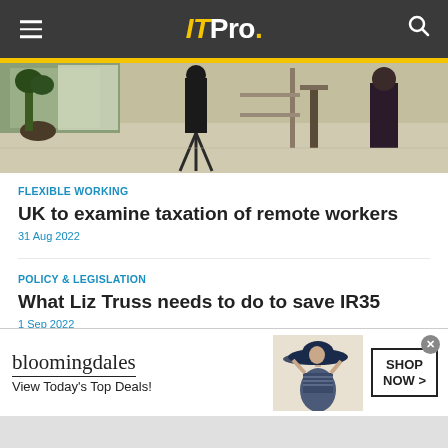ITPro.
[Figure (photo): Office or workspace interior photo showing people walking, with a plant and minimalist furnishings]
FLEXIBLE WORKING
UK to examine taxation of remote workers
31 Aug 2022
POLICY & LEGISLATION
What Liz Truss needs to do to save IR35
1 Sep 2022
[Figure (advertisement): Bloomingdale's advertisement showing a woman with large hat, text: View Today's Top Deals! SHOP NOW >]